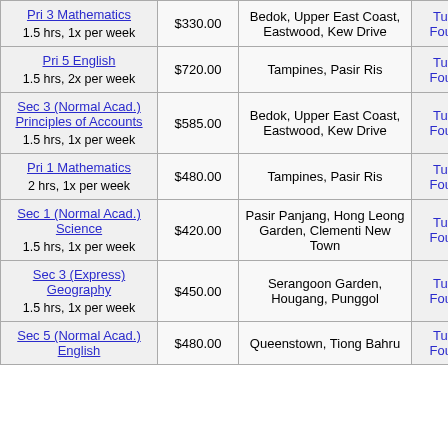| Subject | Rate | Location | Status |
| --- | --- | --- | --- |
| Pri 3 Mathematics
1.5 hrs, 1x per week | $330.00 | Bedok, Upper East Coast, Eastwood, Kew Drive | Tutor Found |
| Pri 5 English
1.5 hrs, 2x per week | $720.00 | Tampines, Pasir Ris | Tutor Found |
| Sec 3 (Normal Acad.) Principles of Accounts
1.5 hrs, 1x per week | $585.00 | Bedok, Upper East Coast, Eastwood, Kew Drive | Tutor Found |
| Pri 1 Mathematics
2 hrs, 1x per week | $480.00 | Tampines, Pasir Ris | Tutor Found |
| Sec 1 (Normal Acad.) Science
1.5 hrs, 1x per week | $420.00 | Pasir Panjang, Hong Leong Garden, Clementi New Town | Tutor Found |
| Sec 3 (Express) Geography
1.5 hrs, 1x per week | $450.00 | Serangoon Garden, Hougang, Punggol | Tutor Found |
| Sec 5 (Normal Acad.) English | $480.00 | Queenstown, Tiong Bahru | Tutor Found |